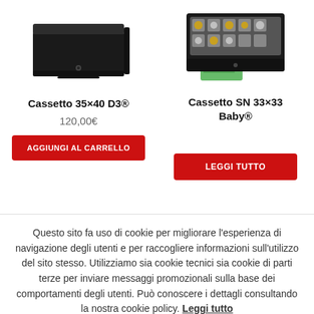[Figure (photo): Product image of Cassetto 35x40 D3 cash drawer, black, closed view from above]
[Figure (photo): Product image of Cassetto SN 33x33 Baby cash drawer, black, open showing coins and banknotes]
Cassetto 35×40 D3®
Cassetto SN 33×33 Baby®
120,00€
AGGIUNGI AL CARRELLO
LEGGI TUTTO
Questo sito fa uso di cookie per migliorare l'esperienza di navigazione degli utenti e per raccogliere informazioni sull'utilizzo del sito stesso. Utilizziamo sia cookie tecnici sia cookie di parti terze per inviare messaggi promozionali sulla base dei comportamenti degli utenti. Può conoscere i dettagli consultando la nostra cookie policy. Leggi tutto
ACCETTA TUTTI